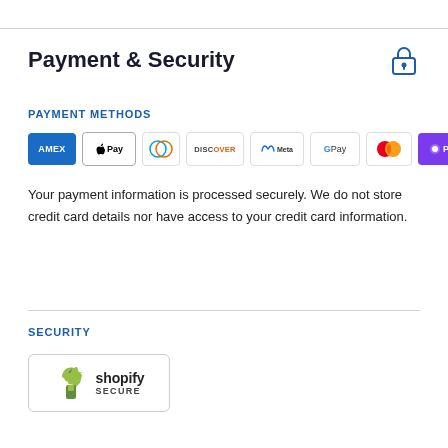Payment & Security
PAYMENT METHODS
[Figure (logo): Payment method icons: AMEX, Apple Pay, Diners Club, Discover, Meta Pay, Google Pay, Mastercard, OPay, Visa]
Your payment information is processed securely. We do not store credit card details nor have access to your credit card information.
SECURITY
[Figure (logo): Shopify Secure badge]